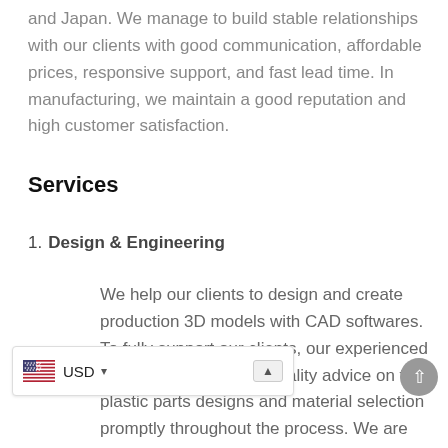and Japan. We manage to build stable relationships with our clients with good communication, affordable prices, responsive support, and fast lead time. In manufacturing, we maintain a good reputation and high customer satisfaction.
Services
1. Design & Engineering
We help our clients to design and create production 3D models with CAD softwares. To fully support our clients, our experienced engineers will provide quality advice on the plastic parts designs and material selection promptly throughout the process. We are aware that this is a crucial phase in which [p our clients reduce overall costs. Thus, our team will follow the project closely and suggest improvements that help to reduce design changes...